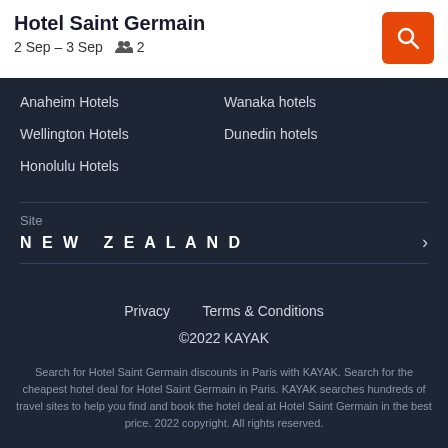Hotel Saint Germain
2 Sep – 3 Sep    👥 2
Anaheim Hotels
Wanaka hotels
Wellington Hotels
Dunedin hotels
Honolulu Hotels
Site
NEW ZEALAND
Privacy    Terms & Conditions
©2022 KAYAK
Search for Hotel Saint Germain discounts in Paris with KAYAK. Search for the cheapest hotel deal for Hotel Saint Germain in Paris. KAYAK searches hundreds of travel sites to help you find and book the hotel deal at Hotel Saint Germain that suits you best. 2015 copyright. All rights reserved.